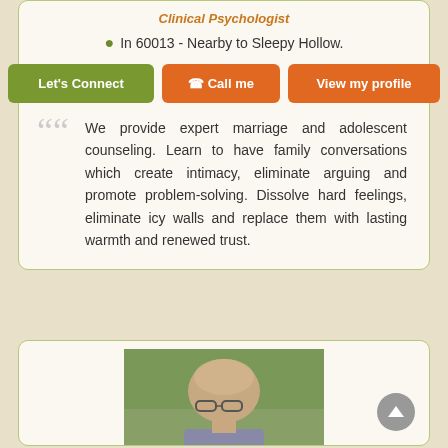Clinical Psychologist
In 60013 - Nearby to Sleepy Hollow.
Let's Connect | Call me | View my profile
We provide expert marriage and adolescent counseling. Learn to have family conversations which create intimacy, eliminate arguing and promote problem-solving. Dissolve hard feelings, eliminate icy walls and replace them with lasting warmth and renewed trust.
[Figure (photo): Partial view of a man's face, balding, wearing glasses, outdoors with green foliage in background]